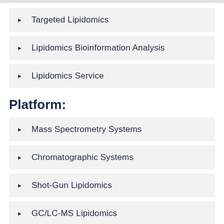Targeted Lipidomics
Lipidomics Bioinformation Analysis
Lipidomics Service
Platform:
Mass Spectrometry Systems
Chromatographic Systems
Shot-Gun Lipidomics
GC/LC-MS Lipidomics